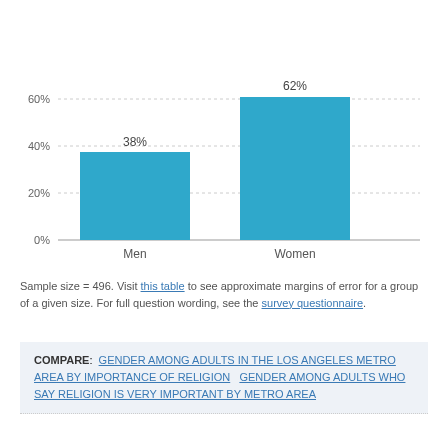[Figure (bar-chart): ]
Sample size = 496. Visit this table to see approximate margins of error for a group of a given size. For full question wording, see the survey questionnaire.
COMPARE: GENDER AMONG ADULTS IN THE LOS ANGELES METRO AREA BY IMPORTANCE OF RELIGION   GENDER AMONG ADULTS WHO SAY RELIGION IS VERY IMPORTANT BY METRO AREA